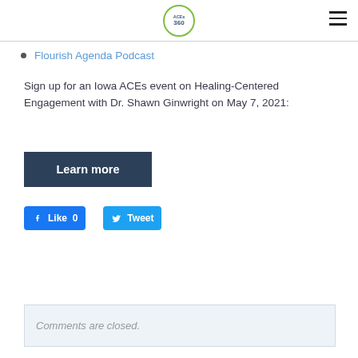ACEs 360 logo and navigation menu
Flourish Agenda Podcast
Sign up for an Iowa ACEs event on Healing-Centered Engagement with Dr. Shawn Ginwright on May 7, 2021:
[Figure (other): Dark blue 'Learn more' button]
[Figure (other): Facebook Like button showing 0 likes and Twitter Tweet button]
Comments are closed.